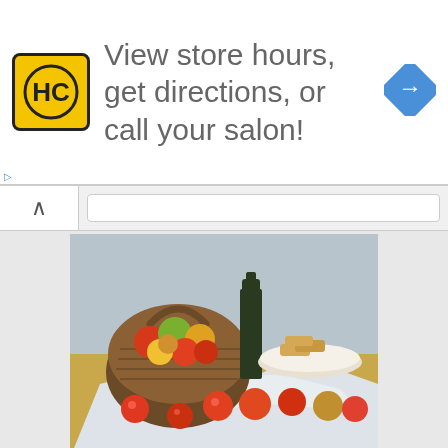[Figure (screenshot): Ad banner with HC (Hair Club) yellow logo, navigation arrow icon, and text 'View store hours, get directions, or call your salon!']
[Figure (photo): Paul Cézanne still life painting showing a basket of apples, a bottle, a plate with biscuits, and scattered apples on a draped white cloth on a table]
Interesting facts about Paul Cézanne